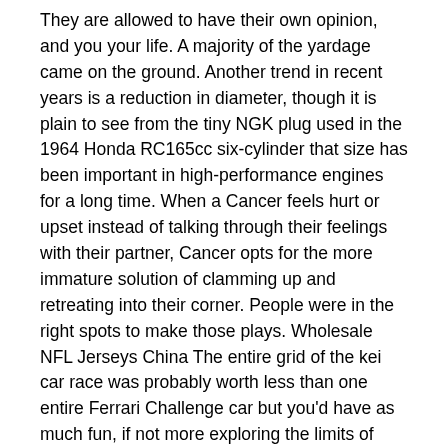They are allowed to have their own opinion, and you your life. A majority of the yardage came on the ground. Another trend in recent years is a reduction in diameter, though it is plain to see from the tiny NGK plug used in the 1964 Honda RC165cc six-cylinder that size has been important in high-performance engines for a long time. When a Cancer feels hurt or upset instead of talking through their feelings with their partner, Cancer opts for the more immature solution of clamming up and retreating into their corner. People were in the right spots to make those plays. Wholesale NFL Jerseys China The entire grid of the kei car race was probably worth less than one entire Ferrari Challenge car but you'd have as much fun, if not more exploring the limits of your 660cc car. For many this is the definitive XJ with Nike NFL Jerseys From China its classic looks, much improved build quality and appealing colours. Your finance horoscope A friend who is having money problems might decide to dump